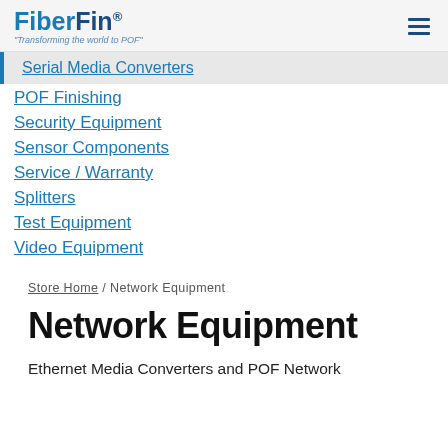FiberFin® "Transforming the world to POF"
Serial Media Converters
POF Finishing
Security Equipment
Sensor Components
Service / Warranty
Splitters
Test Equipment
Video Equipment
Store Home / Network Equipment
Network Equipment
Ethernet Media Converters and POF Network